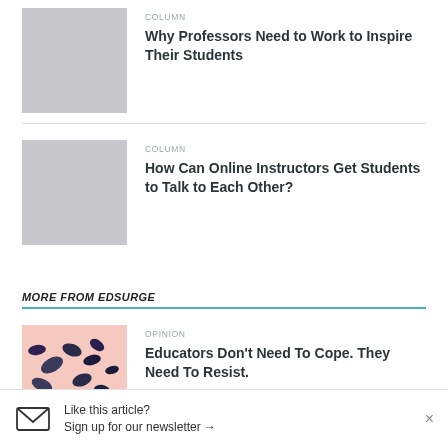[Figure (photo): Gray placeholder thumbnail for article about professors inspiring students]
COLUMN
Why Professors Need to Work to Inspire Their Students
[Figure (photo): Gray placeholder thumbnail for article about online instructors]
COLUMN
How Can Online Instructors Get Students to Talk to Each Other?
MORE FROM EDSURGE
[Figure (photo): Photo of birds or butterfly-like shapes on a light pink background]
OPINION
Educators Don't Need To Cope. They Need To Resist.
Like this article?
Sign up for our newsletter →